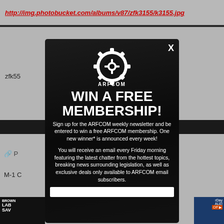http://img.photobucket.com/albums/v87/zfk3155/k3155.jpg
[Figure (screenshot): ARFCOM Win A Free Membership modal popup overlay on a website background. The modal has a dark background with the ARFCOM gear logo, large white text 'WIN A FREE MEMBERSHIP!', signup description text, and an email input field at the bottom. A close X button appears top right. The background shows a gray webpage with partial content visible.]